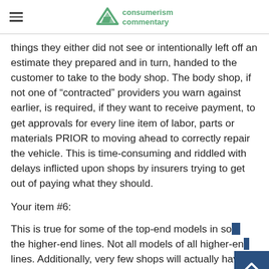consumerism commentary
things they either did not see or intentionally left off an estimate they prepared and in turn, handed to the customer to take to the body shop. The body shop, if not one of “contracted” providers you warn against earlier, is required, if they want to receive payment, to get approvals for every line item of labor, parts or materials PRIOR to moving ahead to correctly repair the vehicle. This is time-consuming and riddled with delays inflicted upon shops by insurers trying to get out of paying what they should.
Your item #6:
This is true for some of the top-end models in some of the higher-end lines. Not all models of all higher-end lines. Additionally, very few shops will actually have access to the certification process as it may be limited